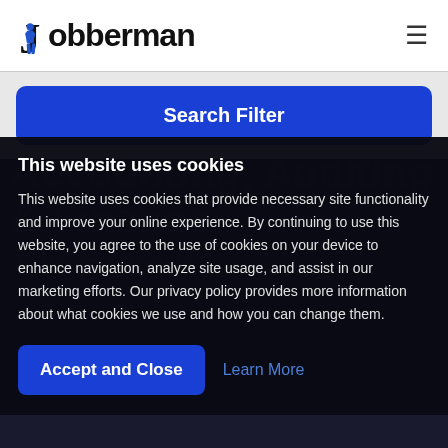Jobberman
Search Filter
/ Accounting, Auditing & Finance
This website uses cookies
This website uses cookies that provide necessary site functionality and improve your online experience. By continuing to use this website, you agree to the use of cookies on your device to enhance navigation, analyze site usage, and assist in our marketing efforts. Our privacy policy provides more information about what cookies we use and how you can change them.
Accept and Close
Learn More